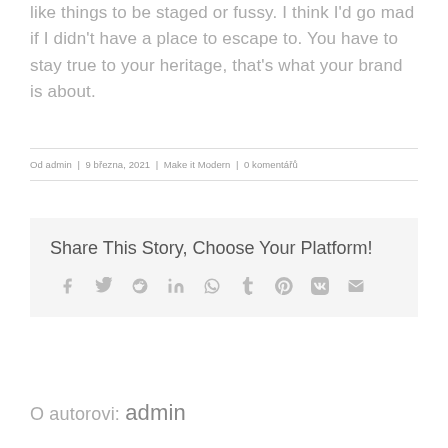like things to be staged or fussy. I think I'd go mad if I didn't have a place to escape to. You have to stay true to your heritage, that's what your brand is about.
Od admin | 9 března, 2021 | Make it Modern | 0 komentářů
Share This Story, Choose Your Platform!
Social share icons: facebook, twitter, reddit, linkedin, whatsapp, tumblr, pinterest, vk, email
O autorovi: admin